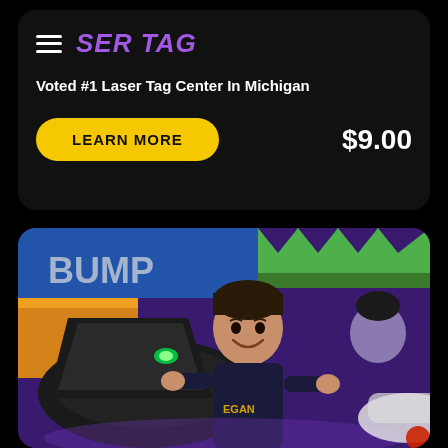SER TAG
Voted #1 Laser Tag Center In Michigan
LEARN MORE
$9.00
[Figure (photo): A smiling boy in a bumper car at a laser tag / arcade entertainment center with colorful purple and green neon decor. The boy wears a dark hoodie with 'EGAN' visible. Other guests are visible in the background.]